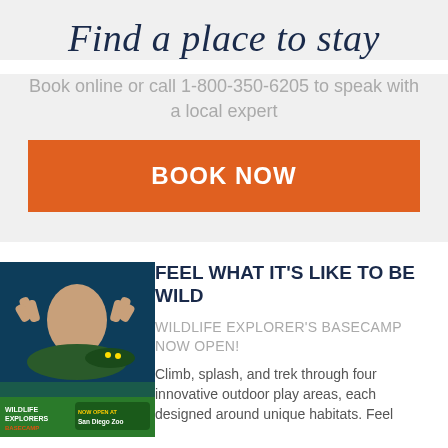Find a place to stay
Book online or call 1-800-350-6205 to speak with a local expert
BOOK NOW
[Figure (illustration): Wildlife Explorer's Basecamp advertisement image showing a child with hands pressed against glass with an alligator, green background with 'Wildlife Explorers Basecamp' logo and 'NOW OPEN AT San Diego Zoo' text]
FEEL WHAT IT'S LIKE TO BE WILD
WILDLIFE EXPLORER'S BASECAMP NOW OPEN!
Climb, splash, and trek through four innovative outdoor play areas, each designed around unique habitats. Feel